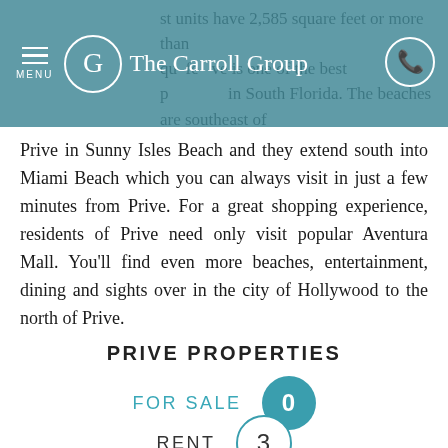The Carroll Group — MENU navigation bar
st units have 2,585 square feet or more than qu feet. Prive is one of the best p in South Florida. The beaches are southeast of Prive in Sunny Isles Beach and they extend south into Miami Beach which you can always visit in just a few minutes from Prive. For a great shopping experience, residents of Prive need only visit popular Aventura Mall. You'll find even more beaches, entertainment, dining and sights over in the city of Hollywood to the north of Prive.
PRIVE PROPERTIES
FOR SALE 0
RENT 3